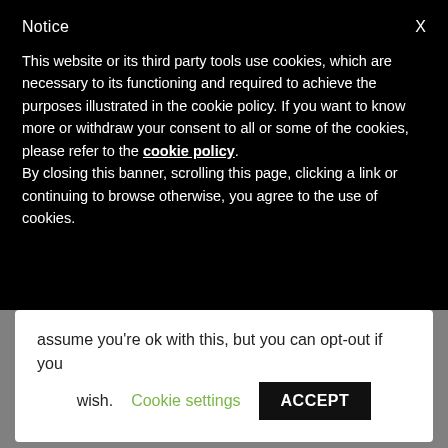Notice
This website or its third party tools use cookies, which are necessary to its functioning and required to achieve the purposes illustrated in the cookie policy. If you want to know more or withdraw your consent to all or some of the cookies, please refer to the cookie policy.
By closing this banner, scrolling this page, clicking a link or continuing to browse otherwise, you agree to the use of cookies.
assume you're ok with this, but you can opt-out if you wish.
Cookie settings
ACCEPT
STEP #2
You can
Rename "Active Session" table to "Active Session2" Table, rename also the Clustered Index